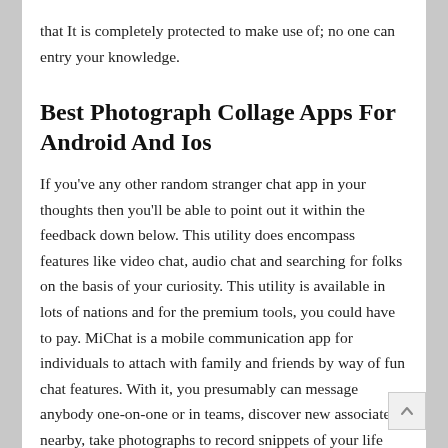that It is completely protected to make use of; no one can entry your knowledge.
Best Photograph Collage Apps For Android And Ios
If you've any other random stranger chat app in your thoughts then you'll be able to point out it within the feedback down below. This utility does encompass features like video chat, audio chat and searching for folks on the basis of your curiosity. This utility is available in lots of nations and for the premium tools, you could have to pay. MiChat is a mobile communication app for individuals to attach with family and friends by way of fun chat features. With it, you presumably can message anybody one-on-one or in teams, discover new associates nearby, take photographs to record snippets of your life and extra. Houseparty is a very enjoyable approach to have a group video chat – virtually like FaceTime with as a lot as eight